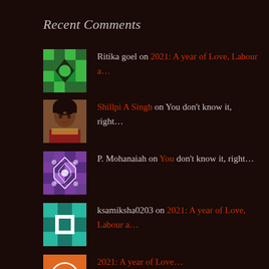Recent Comments
Ritika goel on 2021: A year of Love, Labour a…
Shillpi A Singh on You don't know it, right…
P. Mohanaiah on You don't know it, right…
ksamiksha0203 on 2021: A year of Love, Labour a…
2021: A year of Love… on 2021: A year of Love, Labour a…